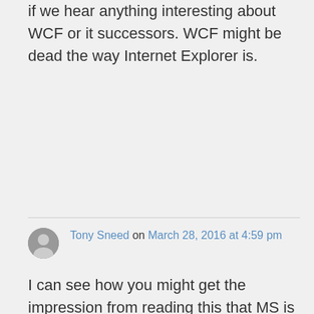if we hear anything interesting about WCF or it successors. WCF might be dead the way Internet Explorer is.
Tony Sneed on March 28, 2016 at 4:59 pm
I can see how you might get the impression from reading this that MS is trying to breathe new life into WCF as a server-side stack. But you also have to consider WCF's history and where things are headed. To be sure WCF isn't going